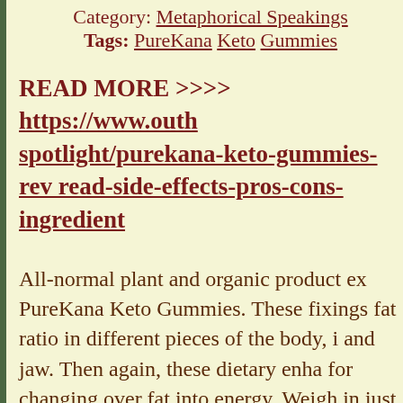Category: Metaphorical Speakings
Tags: PureKana Keto Gummies
READ MORE >>>> https://www.outlook spotlight/purekana-keto-gummies-rev read-side-effects-pros-cons-ingredient
All-normal plant and organic product ex PureKana Keto Gummies. These fixings fat ratio in different pieces of the body, and jaw. Then again, these dietary enha for changing over fat into energy. Weigh in just four to five weeks by taking these assist with keeping fat from collecting i